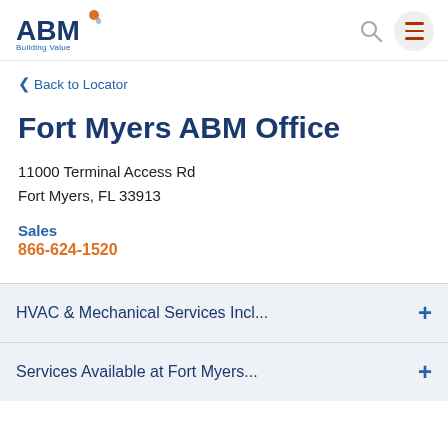ABM Building Value — navigation header with search and menu icons
< Back to Locator
Fort Myers ABM Office
11000 Terminal Access Rd
Fort Myers, FL 33913
Sales
866-624-1520
HVAC & Mechanical Services Incl...
Services Available at Fort Myers...